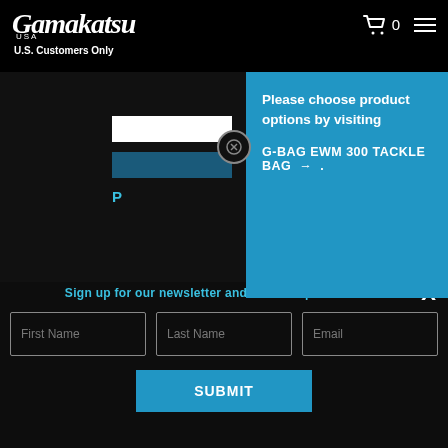Gamakatsu USA — U.S. Customers Only
[Figure (screenshot): Gamakatsu USA website header with logo, cart icon (0), and hamburger menu on black background]
Please choose product options by visiting G-BAG EWM 300 TACKLE BAG →
JDM ROD WA...
[Figure (infographic): Social media icons: Facebook (blue rounded square), Instagram (outlined rounded square), YouTube (outlined rounded rectangle with play button). All in light blue on black background.]
Gamakatsu USA. All rights reserved.
Sign up for our newsletter and receive special offers.
First Name | Last Name | Email input fields and SUBMIT button